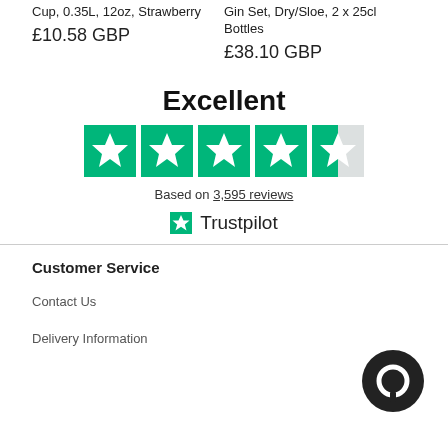Cup, 0.35L, 12oz, Strawberry
£10.58 GBP
Gin Set, Dry/Sloe, 2 x 25cl Bottles
£38.10 GBP
[Figure (infographic): Trustpilot rating widget showing 'Excellent' with 4.5 green stars, based on 3,595 reviews, with Trustpilot logo]
Customer Service
Contact Us
Delivery Information